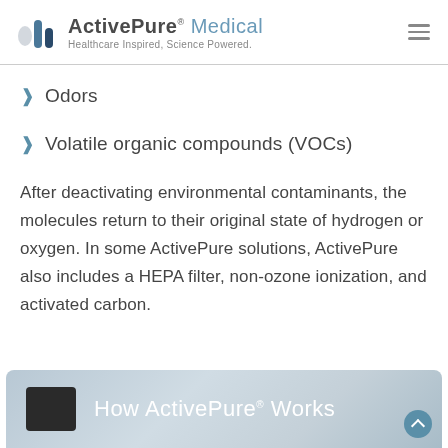ActivePure® Medical — Healthcare Inspired, Science Powered.
Odors
Volatile organic compounds (VOCs)
After deactivating environmental contaminants, the molecules return to their original state of hydrogen or oxygen. In some ActivePure solutions, ActivePure also includes a HEPA filter, non-ozone ionization, and activated carbon.
[Figure (photo): Photo section showing a wall-mounted device with text overlay reading 'How ActivePure® Works']